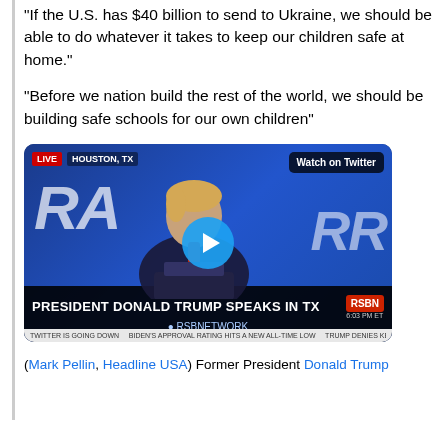"If the U.S. has $40 billion to send to Ukraine, we should be able to do whatever it takes to keep our children safe at home."
"Before we nation build the rest of the world, we should be building safe schools for our own children"
[Figure (screenshot): Video thumbnail showing former President Donald Trump speaking at NRA event in Houston, TX. Lower third reads: PRESIDENT DONALD TRUMP SPEAKS IN TX. RSBNETWORK logo. Watch on Twitter badge. Live badge showing HOUSTON, TX.]
(Mark Pellin, Headline USA) Former President Donald Trump